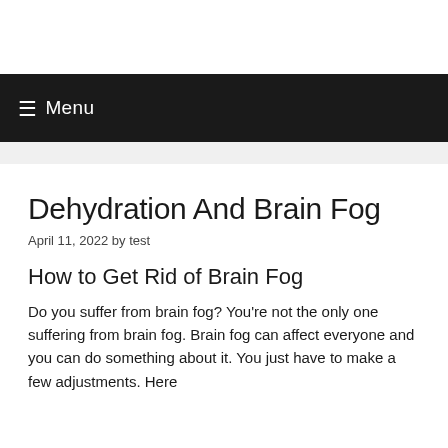☰ Menu
Dehydration And Brain Fog
April 11, 2022 by test
How to Get Rid of Brain Fog
Do you suffer from brain fog? You're not the only one suffering from brain fog. Brain fog can affect everyone and you can do something about it. You just have to make a few adjustments. Here